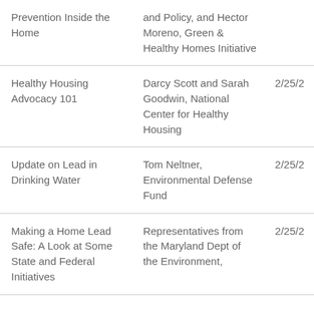| Topic | Speaker | Date |
| --- | --- | --- |
| Prevention Inside the Home | and Policy, and Hector Moreno, Green & Healthy Homes Initiative |  |
| Healthy Housing Advocacy 101 | Darcy Scott and Sarah Goodwin, National Center for Healthy Housing | 2/25/2... |
| Update on Lead in Drinking Water | Tom Neltner, Environmental Defense Fund | 2/25/2... |
| Making a Home Lead Safe: A Look at Some State and Federal Initiatives | Representatives from the Maryland Dept of the Environment, | 2/25/2... |